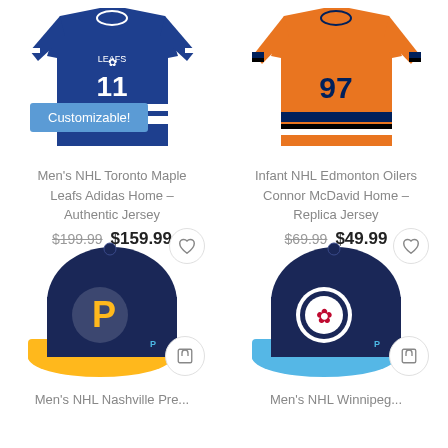[Figure (photo): Men's NHL Toronto Maple Leafs Adidas Home Authentic Jersey (blue), with a 'Customizable!' badge overlay]
[Figure (photo): Infant NHL Edmonton Oilers Connor McDavid Home Replica Jersey (orange with blue/black stripes and #97)]
Men's NHL Toronto Maple Leafs Adidas Home – Authentic Jersey
Infant NHL Edmonton Oilers Connor McDavid Home – Replica Jersey
$199.99  $159.99
$69.99  $49.99
[Figure (photo): Men's NHL Nashville Predators cap (navy with yellow brim and Predators logo), with heart and cart icons]
[Figure (photo): Men's NHL Winnipeg Jets cap (navy with blue brim and Jets logo), with heart and cart icons]
Men's NHL Nashville Pre...
Men's NHL Winnipeg...